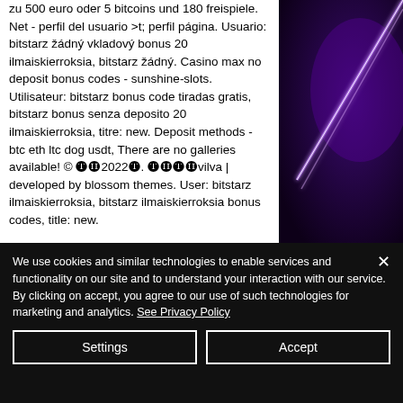zu 500 euro oder 5 bitcoins und 180 freispiele. Net - perfil del usuario &gt; perfil página. Usuario: bitstarz žádný vkladový bonus 20 ilmaiskierroksia, bitstarz žádný. Casino max no deposit bonus codes - sunshine-slots. Utilisateur: bitstarz bonus code tiradas gratis, bitstarz bonus senza deposito 20 ilmaiskierroksia, titre: new. Deposit methods - btc eth ltc dog usdt, There are no galleries available! © 🅣🅗2022🅣. 🅣🅗🅣🅗vilva | developed by blossom themes. User: bitstarz ilmaiskierroksia, bitstarz ilmaiskierroksia bonus codes, title: new.
[Figure (photo): Dark purple/black background with a bright white and purple laser or light beam effect, resembling a neon light or laser streak on a dark night background.]
We use cookies and similar technologies to enable services and functionality on our site and to understand your interaction with our service. By clicking on accept, you agree to our use of such technologies for marketing and analytics. See Privacy Policy